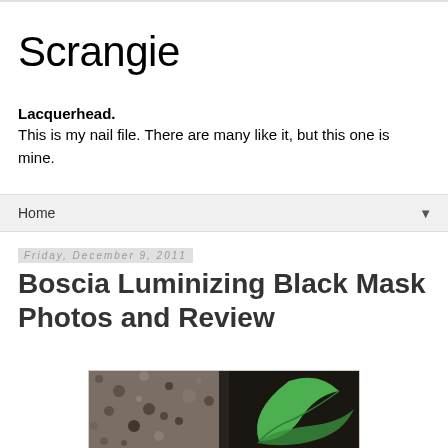Scrangie
Lacquerhead.
This is my nail file. There are many like it, but this one is mine.
Home ▼
Friday, December 9, 2011
Boscia Luminizing Black Mask Photos and Review
[Figure (photo): Photo of Boscia Luminizing Black Mask product against a granite/stone background with a green leaf logo visible]